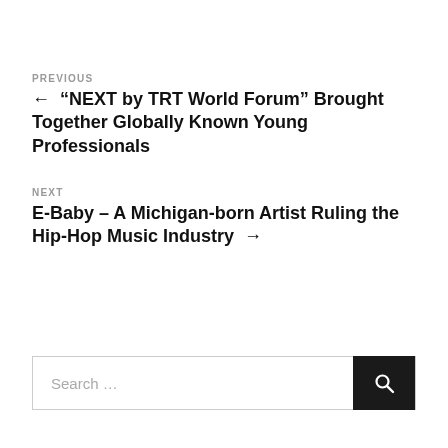PREVIOUS
← “NEXT by TRT World Forum” Brought Together Globally Known Young Professionals
NEXT
E-Baby – A Michigan-born Artist Ruling the Hip-Hop Music Industry →
Search …